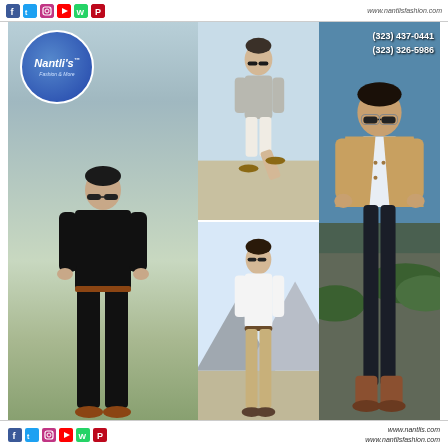www.nantlisfashion.com — social icons: Facebook, Twitter, Instagram, YouTube, WhatsApp, Pinterest
[Figure (photo): Fashion advertisement collage for Nantli's Fashion & More. Left panel: man in black outfit with sunglasses, brown shoes, standing with hands in pockets, with Nantli's logo circle (blue) top-left. Center top: man in casual white shorts and grey t-shirt standing on one leg. Center bottom: man in white long-sleeve shirt and khaki pants standing outdoors with mountains in background. Right panel: man in tan blazer, white shirt, dark jeans and brown boots, with phone numbers (323) 437-0441 and (323) 326-5986 overlaid in white.]
Social icons: Facebook, Twitter, Instagram, YouTube, WhatsApp, Pinterest — www.nantlis.com — www.nantlisfashion.com